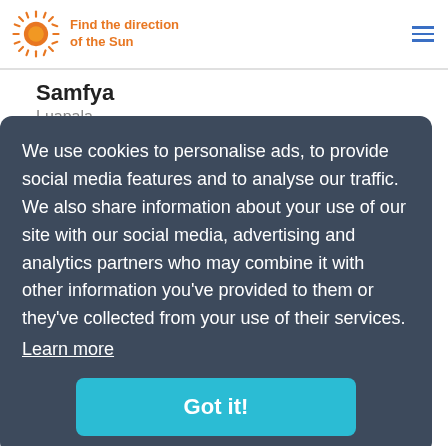Find the direction of the Sun
Samfya
Luapala,
Senanga
Western,
Serenje
Central,
Sesheke
Sisheke, Western,
Sikombo
Western,
Siavonga
Southern,
We use cookies to personalise ads, to provide social media features and to analyse our traffic. We also share information about your use of our site with our social media, advertising and analytics partners who may combine it with other information you've provided to them or they've collected from your use of their services. Learn more Got it!